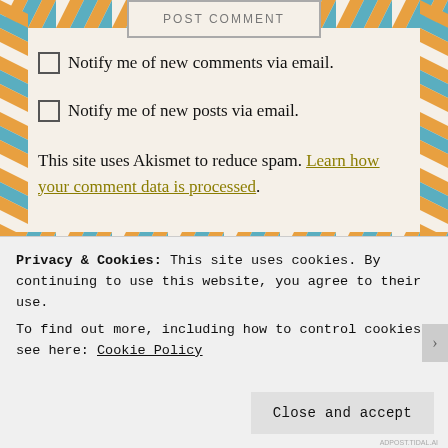☐ Notify me of new comments via email.
☐ Notify me of new posts via email.
This site uses Akismet to reduce spam. Learn how your comment data is processed.
Advertisements
[Figure (logo): Pocket Casts advertisement banner with red background and white logo/text]
Privacy & Cookies: This site uses cookies. By continuing to use this website, you agree to their use.
To find out more, including how to control cookies, see here: Cookie Policy
Close and accept